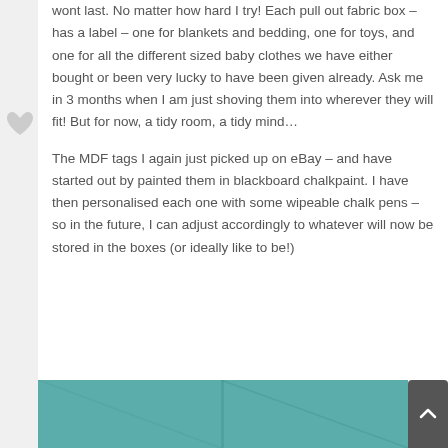wont last. No matter how hard I try! Each pull out fabric box – has a label – one for blankets and bedding, one for toys, and one for all the different sized baby clothes we have either bought or been very lucky to have been given already. Ask me in 3 months when I am just shoving them into wherever they will fit! But for now, a tidy room, a tidy mind…
The MDF tags I again just picked up on eBay – and have started out by painted them in blackboard chalkpaint. I have then personalised each one with some wipeable chalk pens – so in the future, I can adjust accordingly to whatever will now be stored in the boxes (or ideally like to be!)
[Figure (photo): Teal/turquoise fabric or surface split by a vertical line, partially visible at the bottom of the page]